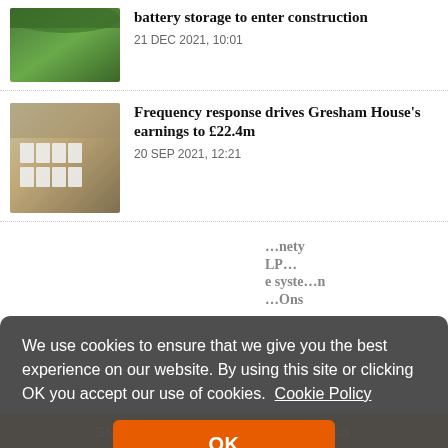[Figure (photo): Aerial view of green field landscape]
battery storage to enter construction
21 DEC 2021, 10:01
[Figure (photo): Aerial view of battery storage facility with white units on brown land]
Frequency response drives Gresham House’s earnings to £22.4m
20 SEP 2021, 12:21
We use cookies to ensure that we give you the best experience on our website. By using this site or clicking OK you accept our use of cookies.
Cookie Policy
OK
SUMMIT   SOLAR OPPORTUNITIES